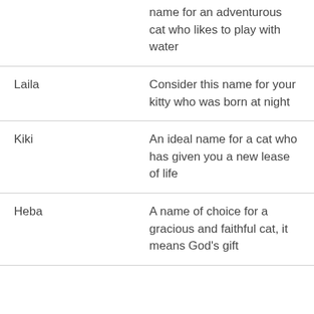| Name | Description |
| --- | --- |
|  | name for an adventurous cat who likes to play with water |
| Laila | Consider this name for your kitty who was born at night |
| Kiki | An ideal name for a cat who has given you a new lease of life |
| Heba | A name of choice for a gracious and faithful cat, it means God’s gift |